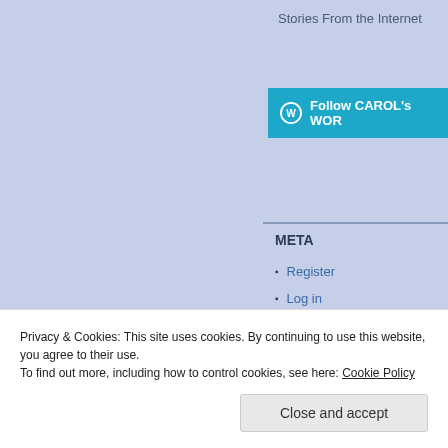Stories From the Internet
[Figure (screenshot): Follow CAROL's WORD button with WordPress icon on teal/cyan background]
META
Register
Log in
Entries feed
Comments feed
WordPress.com
Privacy & Cookies: This site uses cookies. By continuing to use this website, you agree to their use.
To find out more, including how to control cookies, see here: Cookie Policy
Close and accept